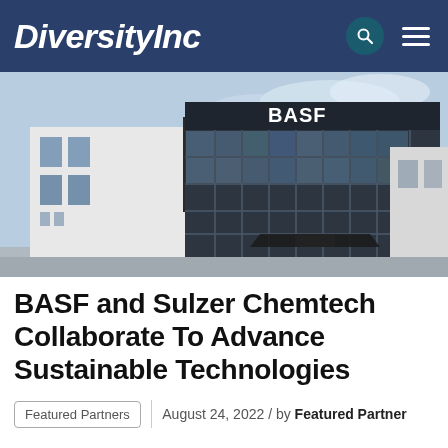DiversityInc
[Figure (photo): Exterior photo of a BASF building — a modern multi-story structure with large glass windows and a dark facade featuring the BASF logo, photographed from a low angle against a blue sky.]
BASF and Sulzer Chemtech Collaborate To Advance Sustainable Technologies
Featured Partners  |  August 24, 2022 / by Featured Partner